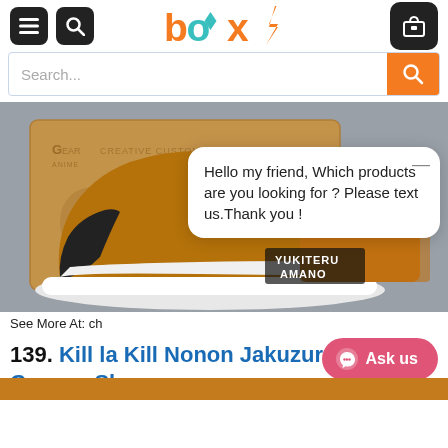[Figure (screenshot): Website header with hamburger menu, search icon, BOX logo in orange and teal, and cart icon]
[Figure (screenshot): Search bar with placeholder text 'Search...' and orange search button]
[Figure (photo): Custom high-top canvas shoes featuring Yukiteru Amano anime character, brown/orange colorway with black accents, displayed in front of a Gear Anime box]
See More At: ch
Hello my friend, Which products are you looking for ? Please text us.Thank you !
139. Kill la Kill Nonon Jakuzure High Top Canvas Shoes
Ask us